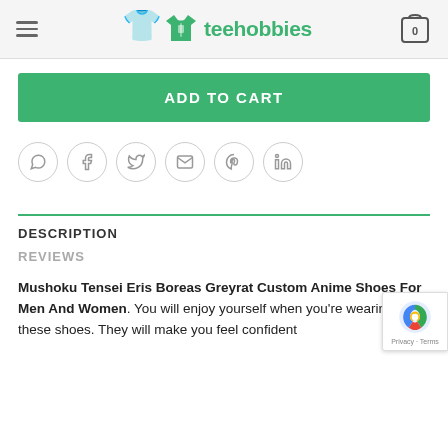teehobbies — navigation header with hamburger menu and cart icon (0 items)
ADD TO CART
[Figure (other): Row of 6 circular social share icons: WhatsApp, Facebook, Twitter, Email, Pinterest, LinkedIn]
DESCRIPTION
REVIEWS
Mushoku Tensei Eris Boreas Greyrat Custom Anime Shoes For Men And Women. You will enjoy yourself when you're wearing these shoes. They will make you feel confident